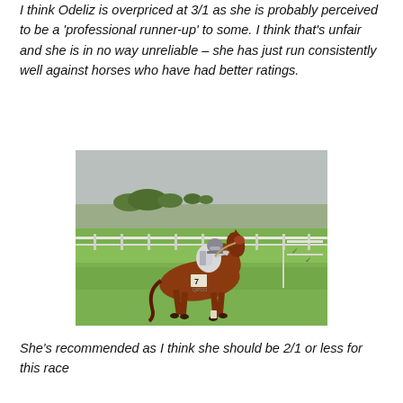I think Odeliz is overpriced at 3/1 as she is probably perceived to be a 'professional runner-up' to some. I think that's unfair and she is in no way unreliable – she has just run consistently well against horses who have had better ratings.
[Figure (photo): A jockey wearing white and grey silks riding a chestnut racehorse numbered 7 on a green grass track, with white rail fencing and open fields in the background.]
She's recommended as I think she should be 2/1 or less for this race